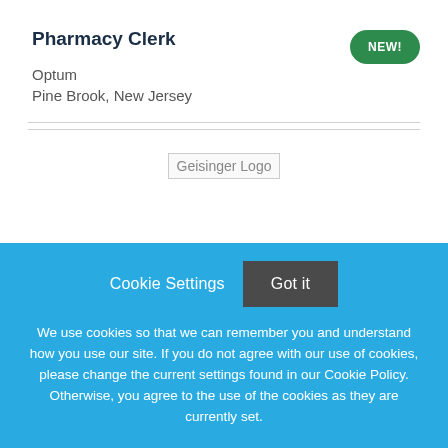Pharmacy Clerk
Optum
Pine Brook, New Jersey
[Figure (logo): Geisinger Logo placeholder image]
Cookie Settings   Got it
We use cookies so that we can remember you and understand how you use our site. If you do not agree with our use of cookies, please change the current settings found in our Cookie Policy. Otherwise, you agree to the use of the cookies as they are currently set.